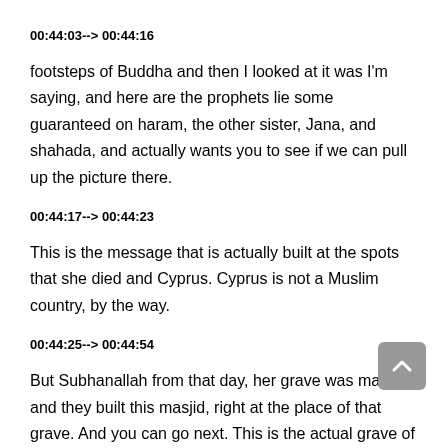00:44:03--> 00:44:16
footsteps of Buddha and then I looked at it was I'm saying, and here are the prophets lie some guaranteed on haram, the other sister, Jana, and shahada, and actually wants you to see if we can pull up the picture there.
00:44:17--> 00:44:23
This is the message that is actually built at the spots that she died and Cyprus. Cyprus is not a Muslim country, by the way.
00:44:25--> 00:44:54
But Subhanallah from that day, her grave was marked and they built this masjid, right at the place of that grave. And you can go next. This is the actual grave of haram mentleman handle the Allahu Allah